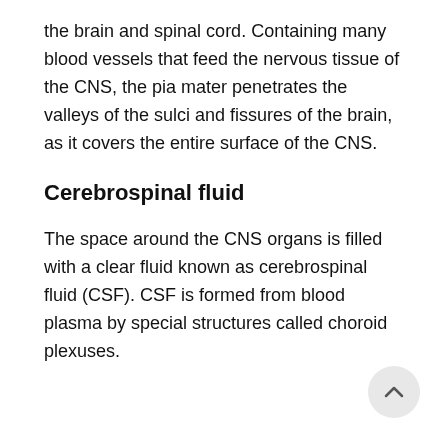the brain and spinal cord. Containing many blood vessels that feed the nervous tissue of the CNS, the pia mater penetrates the valleys of the sulci and fissures of the brain, as it covers the entire surface of the CNS.
Cerebrospinal fluid
The space around the CNS organs is filled with a clear fluid known as cerebrospinal fluid (CSF). CSF is formed from blood plasma by special structures called choroid plexuses.